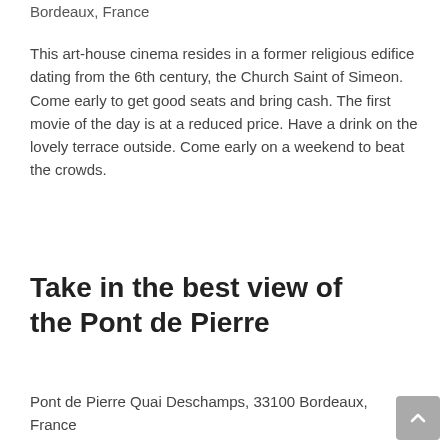Bordeaux, France
This art-house cinema resides in a former religious edifice dating from the 6th century, the Church Saint of Simeon. Come early to get good seats and bring cash. The first movie of the day is at a reduced price. Have a drink on the lovely terrace outside. Come early on a weekend to beat the crowds.
Take in the best view of the Pont de Pierre
Pont de Pierre Quai Deschamps, 33100 Bordeaux, France